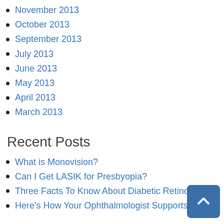November 2013
October 2013
September 2013
July 2013
June 2013
May 2013
April 2013
March 2013
Recent Posts
What is Monovision?
Can I Get LASIK for Presbyopia?
Three Facts To Know About Diabetic Retinopathy
Here's How Your Ophthalmologist Supports Your